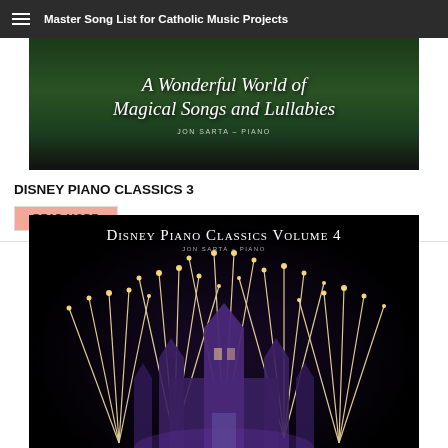Master Song List for Catholic Music Projects
[Figure (photo): Album cover for Disney Piano Classics 3 - A Wonderful World of Magical Songs and Lullabies by Jon Sarta - Piano, with forest background]
DISNEY PIANO CLASSICS 3
READ MORE
[Figure (photo): Album cover for Disney Piano Classics Volume 4 by Jon Sarta - Piano, showing Cinderella Castle with fireworks at night]